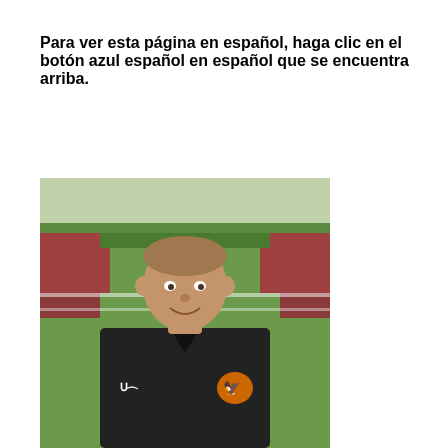Para ver esta página en español, haga clic en el botón azul español en español que se encuentra arriba.
[Figure (photo): A man wearing a black Under Armour polo shirt with an eagle logo standing on a sports field/track with green grass and bleachers visible in the background.]